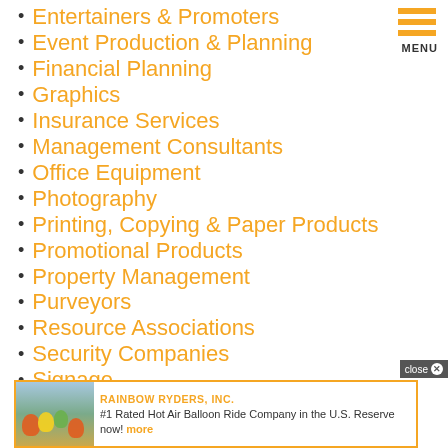Entertainers & Promoters
Event Production & Planning
Financial Planning
Graphics
Insurance Services
Management Consultants
Office Equipment
Photography
Printing, Copying & Paper Products
Promotional Products
Property Management
Purveyors
Resource Associations
Security Companies
Signage
[Figure (other): Menu hamburger icon with three orange horizontal bars and MENU label]
RAINBOW RYDERS, INC. #1 Rated Hot Air Balloon Ride Company in the U.S. Reserve now! more
close